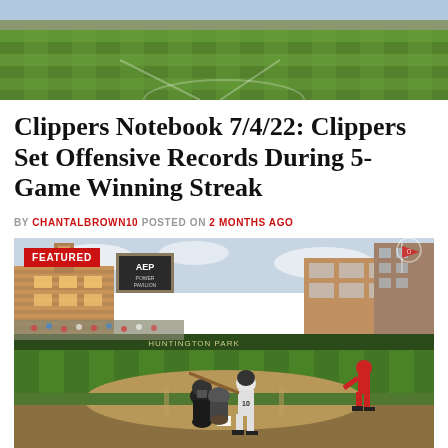[Figure (photo): Aerial view of baseball field grass, partial top image showing green outfield turf with mowing stripe patterns]
Clippers Notebook 7/4/22: Clippers Set Offensive Records During 5-Game Winning Streak
BY CHANTALBROWN10 POSTED ON 2 MONTHS AGO
[Figure (photo): Baseball game at Huntington Park stadium, Columbus Clippers batter number 10 swinging at home plate with catcher and umpire crouching behind, pitcher visible in background on right, stadium filled with fans, AEP Power Pavilion building visible in left background, city buildings in right background, FEATURED badge overlay in top left corner]